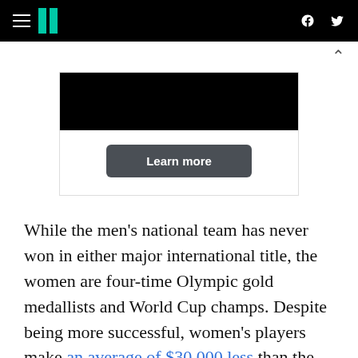HuffPost navigation with hamburger menu, logo, Facebook and Twitter icons
[Figure (other): Advertisement / promotional unit with black image bar and 'Learn more' button]
While the men's national team has never won in either major international title, the women are four-time Olympic gold medallists and World Cup champs. Despite being more successful, women's players make an average of $30,000 less than the men and receive significantly smaller bonuses for World Cup participation